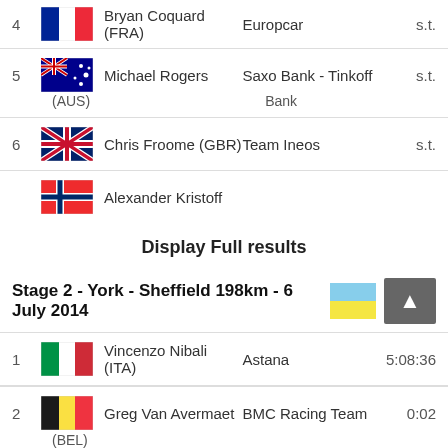| Pos | Flag | Rider | Team | Time |
| --- | --- | --- | --- | --- |
| 4 | FRA | Bryan Coquard (FRA) | Europcar | s.t. |
| 5 | AUS | Michael Rogers (AUS) | Saxo Bank - Tinkoff Bank | s.t. |
| 6 | GBR | Chris Froome (GBR) | Team Ineos | s.t. |
|  | NOR | Alexander Kristoff |  |  |
Display Full results
Stage 2 - York - Sheffield 198km - 6 July 2014
| Pos | Flag | Rider | Team | Time |
| --- | --- | --- | --- | --- |
| 1 | ITA | Vincenzo Nibali (ITA) | Astana | 5:08:36 |
| 2 | BEL | Greg Van Avermaet (BEL) | BMC Racing Team | 0:02 |